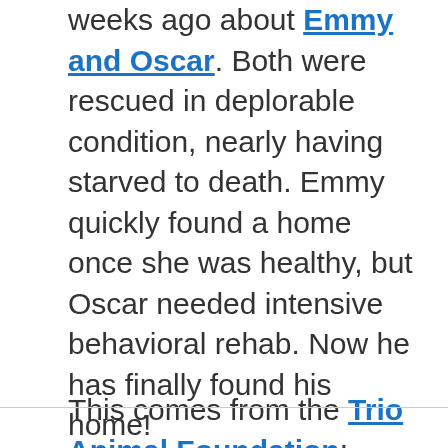weeks ago about Emmy and Oscar.  Both were rescued in deplorable condition, nearly having starved to death.  Emmy quickly found a home once she was healthy, but Oscar needed intensive behavioral rehab.  Now he has finally found his home!
This comes from the Trio Animal Foundation: